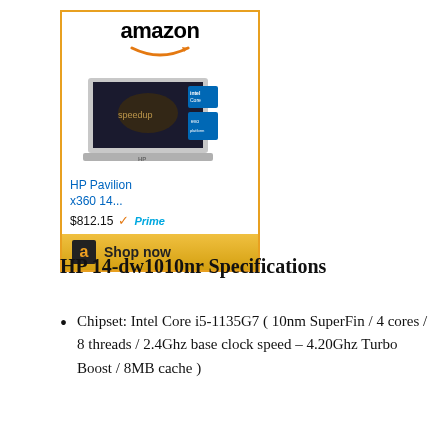[Figure (screenshot): Amazon advertisement box for HP Pavilion x360 14... priced at $812.15 with Prime badge and Shop now button]
HP 14-dw1010nr Specifications
Chipset: Intel Core i5-1135G7 ( 10nm SuperFin / 4 cores / 8 threads / 2.4Ghz base clock speed – 4.20Ghz Turbo Boost / 8MB cache )